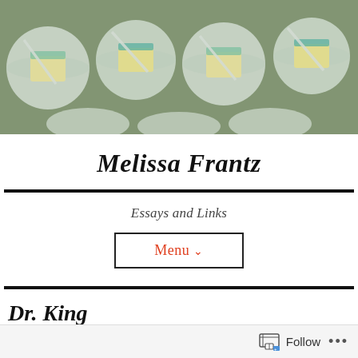[Figure (photo): Overhead photo of multiple plastic dessert cups with slices of cake and plastic forks, on a green surface]
Melissa Frantz
Essays and Links
Menu ∨
Dr. King
Follow ...